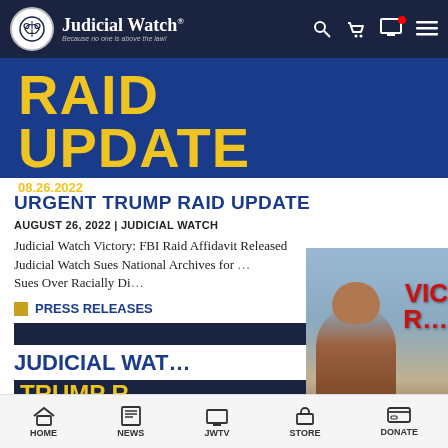Judicial Watch — Because no one is above the law!
[Figure (screenshot): Judicial Watch RAID UPDATE banner with date 08.26.2022 on dark blue background with yellow text]
URGENT TRUMP RAID UPDATE
AUGUST 26, 2022 | JUDICIAL WATCH
Judicial Watch Victory: FBI Raid Affidavit Released Judicial Watch Sues National Archives for … Sues Over Racially Di…
PRESS RELEASES
JUDICIAL WAT…
TRUMP R…
[Figure (screenshot): Embedded video thumbnail showing Judicial Watch VICTORY FOR LIFE -- Roe v. Wade segment with man in red shirt and YouTube play button]
HOME  NEWS  JWTV  STORE  DONATE